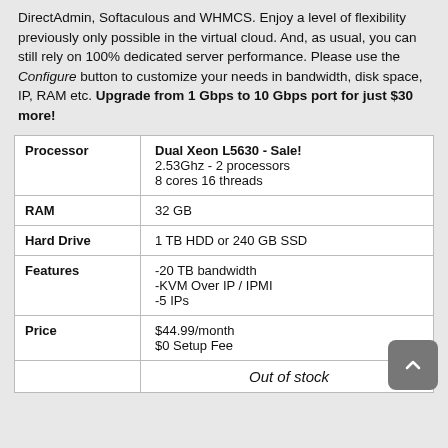DirectAdmin, Softaculous and WHMCS. Enjoy a level of flexibility previously only possible in the virtual cloud. And, as usual, you can still rely on 100% dedicated server performance. Please use the Configure button to customize your needs in bandwidth, disk space, IP, RAM etc. Upgrade from 1 Gbps to 10 Gbps port for just $30 more!
|  |  |
| --- | --- |
| Processor | Dual Xeon L5630 - Sale!
2.53Ghz - 2 processors
8 cores 16 threads |
| RAM | 32 GB |
| Hard Drive | 1 TB HDD or 240 GB SSD |
| Features | -20 TB bandwidth
-KVM Over IP / IPMI
-5 IPs |
| Price | $44.99/month
$0 Setup Fee |
|  | Out of stock |